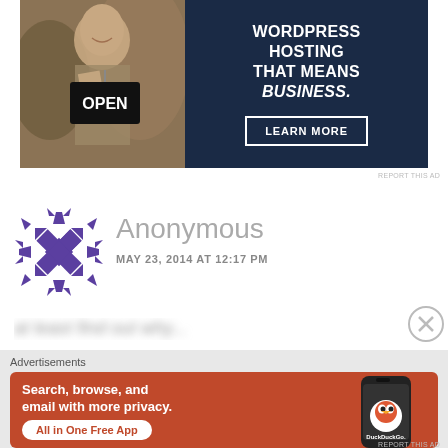[Figure (photo): Advertisement banner: left half shows a woman holding an OPEN sign, right dark blue half shows text 'WORDPRESS HOSTING THAT MEANS BUSINESS.' with a 'LEARN MORE' button]
REPORT THIS AD
[Figure (illustration): Anonymous user avatar: purple geometric snowflake/quilt pattern icon]
Anonymous
MAY 23, 2014 AT 12:17 PM
Advertisements
[Figure (screenshot): DuckDuckGo advertisement on orange/red background: 'Search, browse, and email with more privacy. All in One Free App' with DuckDuckGo logo and phone mockup on the right]